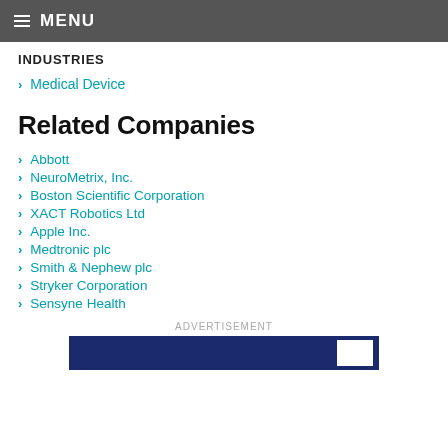MENU
INDUSTRIES
Medical Device
Related Companies
Abbott
NeuroMetrix, Inc.
Boston Scientific Corporation
XACT Robotics Ltd
Apple Inc.
Medtronic plc
Smith & Nephew plc
Stryker Corporation
Sensyne Health
ADVERTISEMENT